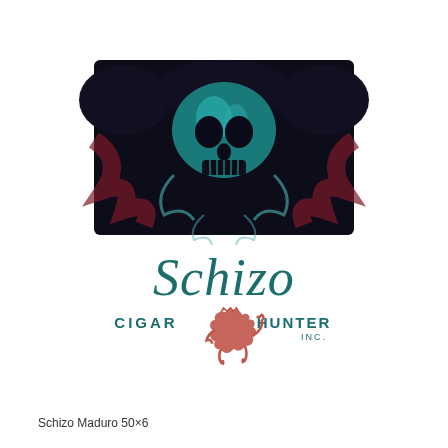[Figure (logo): Schizo Cigar Hunter Inc. logo featuring a dark blue-green skull design on top and the brand name 'Schizo' in teal serif font below, with 'CIGAR HUNTER INC.' text flanking a red heraldic lion emblem]
Schizo Maduro 50×6